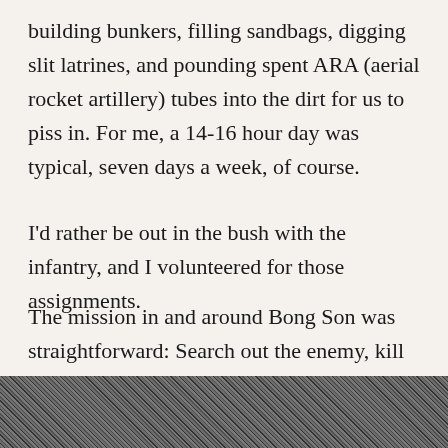building bunkers, filling sandbags, digging slit latrines, and pounding spent ARA (aerial rocket artillery) tubes into the dirt for us to piss in. For me, a 14-16 hour day was typical, seven days a week, of course.
I'd rather be out in the bush with the infantry, and I volunteered for those assignments.
The mission in and around Bong Son was straightforward: Search out the enemy, kill him, and destroy his matériel. Now that's more like it, that is, until you actually do — encounter the enemy.
[Figure (photo): Black and white photograph, partially visible at the bottom of the page, appearing to show soldiers or people in a field/outdoor setting.]